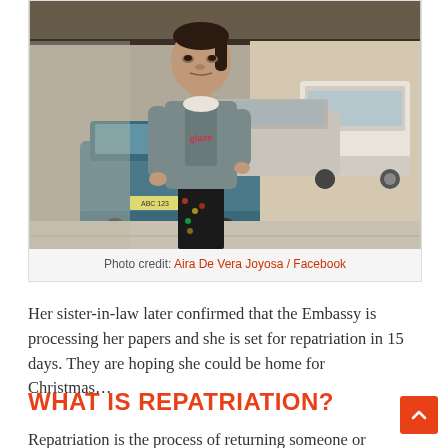[Figure (photo): A woman standing outdoors in a parking area, wearing a grey hoodie and black patterned pants, with cars visible in the background under a covered structure.]
Photo credit: Aira De Vera Joyosa / Facebook
Her sister-in-law later confirmed that the Embassy is processing her papers and she is set for repatriation in 15 days. They are hoping she could be home for Christmas…
WHAT IS REPATRIATION?
Repatriation is the process of returning someone or